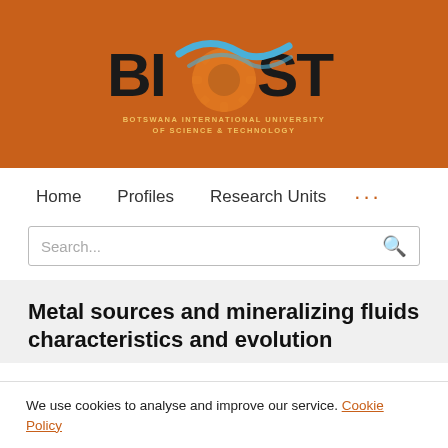[Figure (logo): BIUST - Botswana International University of Science and Technology logo on orange background]
Home   Profiles   Research Units   ...
Search...
Metal sources and mineralizing fluids characteristics and evolution
We use cookies to analyse and improve our service. Cookie Policy